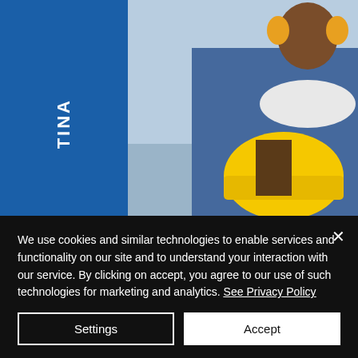[Figure (photo): Construction workers wearing yellow hard hats and safety gear; foreground worker in blue plaid shirt holding a yellow hard hat, background shows additional workers.]
Don't Let it shock Your Roof
17  1
We use cookies and similar technologies to enable services and functionality on our site and to understand your interaction with our service. By clicking on accept, you agree to our use of such technologies for marketing and analytics. See Privacy Policy
Settings
Accept